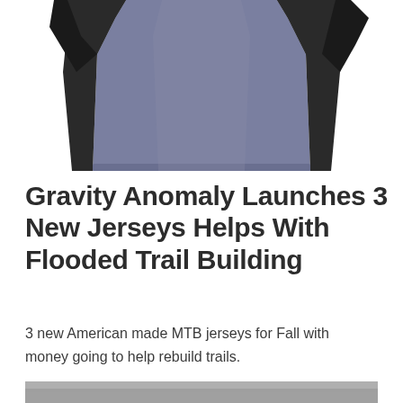[Figure (photo): A gray and black mountain bike jersey (sleeveless/short sleeve), cropped view showing the torso and bottom portion of the jersey against a white background. The jersey is predominantly slate gray with black side panels.]
Gravity Anomaly Launches 3 New Jerseys Helps With Flooded Trail Building
3 new American made MTB jerseys for Fall with money going to help rebuild trails.
[Figure (photo): Partial view of another jersey, cropped at the bottom of the page, showing a gray fabric.]